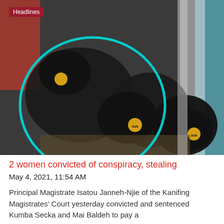[Figure (photo): News screenshot showing people bending down, their heads covered with black caps bearing yellow 'SUN' logos, with a teal circular highlight overlay. A 'Headlines' badge appears in the top-left corner.]
2 women convicted of conspiracy, stealing
May 4, 2021, 11:54 AM
Principal Magistrate Isatou Janneh-Njie of the Kanifing Magistrates' Court yesterday convicted and sentenced Kumba Secka and Mai Baldeh to pay a